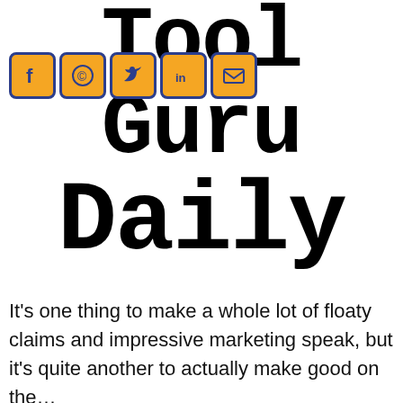Tool Guru Daily
[Figure (infographic): Social media sharing icons: Facebook, WhatsApp, Twitter, LinkedIn, Email — orange rounded-rectangle buttons with dark blue borders]
It's one thing to make a whole lot of floaty claims and impressive marketing speak, but it's quite another to actually make good on the…